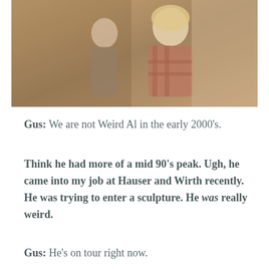[Figure (photo): Two people standing against a stone/stucco wall outdoors. A young man on the left and a blonde woman on the right wearing a plaid/checkered top. Warm amber/sepia toned photograph.]
Gus: We are not Weird Al in the early 2000's.
Think he had more of a mid 90's peak. Ugh, he came into my job at Hauser and Wirth recently. He was trying to enter a sculpture. He was really weird.
Gus: He's on tour right now.